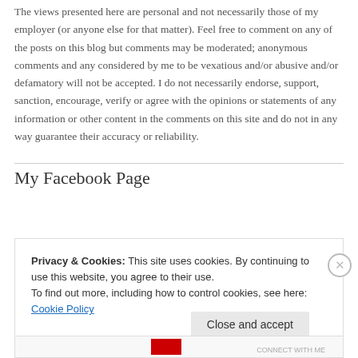The views presented here are personal and not necessarily those of my employer (or anyone else for that matter). Feel free to comment on any of the posts on this blog but comments may be moderated; anonymous comments and any considered by me to be vexatious and/or abusive and/or defamatory will not be accepted. I do not necessarily endorse, support, sanction, encourage, verify or agree with the opinions or statements of any information or other content in the comments on this site and do not in any way guarantee their accuracy or reliability.
My Facebook Page
Privacy & Cookies: This site uses cookies. By continuing to use this website, you agree to their use.
To find out more, including how to control cookies, see here: Cookie Policy